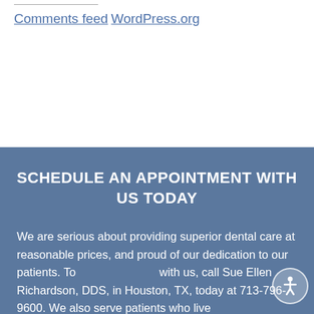Comments feed
WordPress.org
SCHEDULE AN APPOINTMENT WITH US TODAY
We are serious about providing superior dental care at reasonable prices, and proud of our dedication to our patients. To with us, call Sue Ellen Richardson, DDS, in Houston, TX, today at 713-796-9600. We also serve patients who live